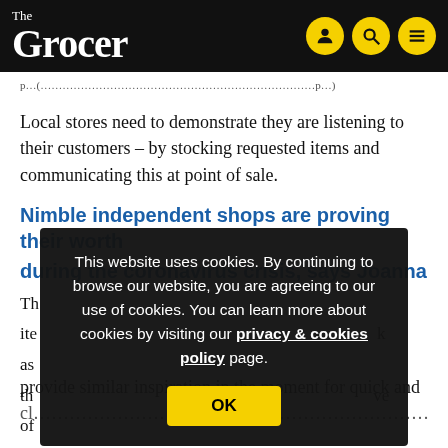The Grocer
Local stores need to demonstrate they are listening to their customers – by stocking requested items and communicating this at point of sale.
Nimble independent shops are proving their worth during the coronavirus crisis, says Joanna
This website uses cookies. By continuing to browse our website, you are agreeing to our use of cookies. You can learn more about cookies by visiting our privacy & cookies policy page.
provide similar inspiration in the moment for quick and